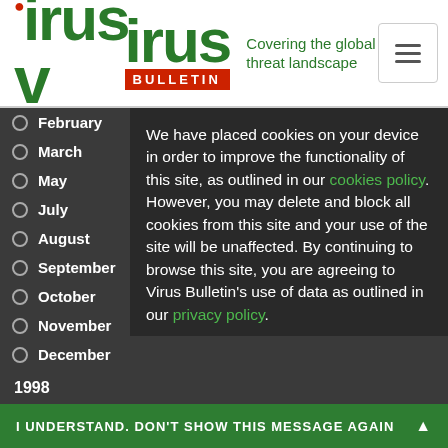[Figure (logo): Virus Bulletin logo with red dot over 'i', green text, red BULLETIN banner, and green tagline 'Covering the global threat landscape']
February
March
May
July
August
September
October
November
December
1998
January
February
March
April
We have placed cookies on your device in order to improve the functionality of this site, as outlined in our cookies policy. However, you may delete and block all cookies from this site and your use of the site will be unaffected. By continuing to browse this site, you are agreeing to Virus Bulletin's use of data as outlined in our privacy policy.
I UNDERSTAND. DON'T SHOW THIS MESSAGE AGAIN